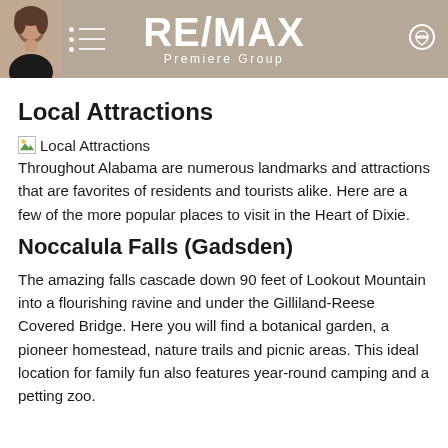RE/MAX Premiere Group
Local Attractions
[Figure (photo): Broken image placeholder labeled Local Attractions]
Throughout Alabama are numerous landmarks and attractions that are favorites of residents and tourists alike. Here are a few of the more popular places to visit in the Heart of Dixie.
Noccalula Falls (Gadsden)
The amazing falls cascade down 90 feet of Lookout Mountain into a flourishing ravine and under the Gilliland-Reese Covered Bridge. Here you will find a botanical garden, a pioneer homestead, nature trails and picnic areas. This ideal location for family fun also features year-round camping and a petting zoo.